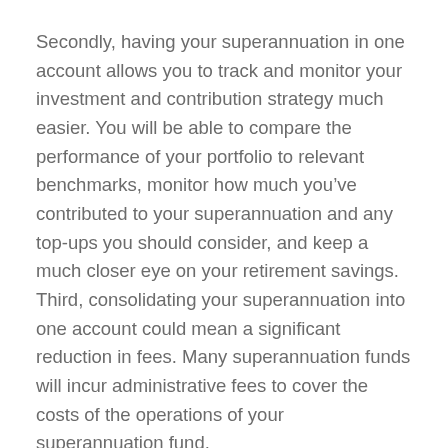Secondly, having your superannuation in one account allows you to track and monitor your investment and contribution strategy much easier. You will be able to compare the performance of your portfolio to relevant benchmarks, monitor how much you’ve contributed to your superannuation and any top-ups you should consider, and keep a much closer eye on your retirement savings.
Third, consolidating your superannuation into one account could mean a significant reduction in fees. Many superannuation funds will incur administrative fees to cover the costs of the operations of your superannuation fund.